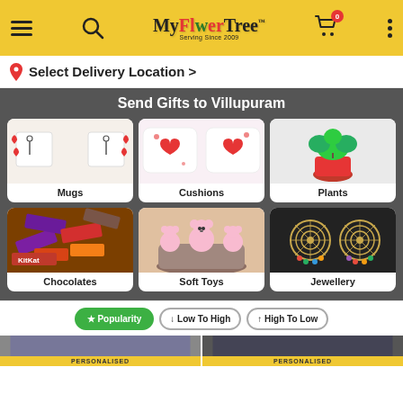[Figure (screenshot): MyFlowerTree app header with hamburger menu, search icon, logo, cart (0 items), and dots menu on yellow background]
Select Delivery Location >
Send Gifts to Villupuram
[Figure (photo): Mugs category - two white mugs with red heart handles and stick figure designs]
Mugs
[Figure (photo): Cushions category - two white cushions with heart and stick figure designs]
Cushions
[Figure (photo): Plants category - green plant in red pot]
Plants
[Figure (photo): Chocolates category - assorted chocolates including KitKat and Dairy Milk]
Chocolates
[Figure (photo): Soft Toys category - pink teddy bears in a basket with chocolates]
Soft Toys
[Figure (photo): Jewellery category - gold filigree earrings with colorful beads]
Jewellery
★ Popularity
↓ Low To High
↑ High To Low
PERSONALISED
PERSONALISED